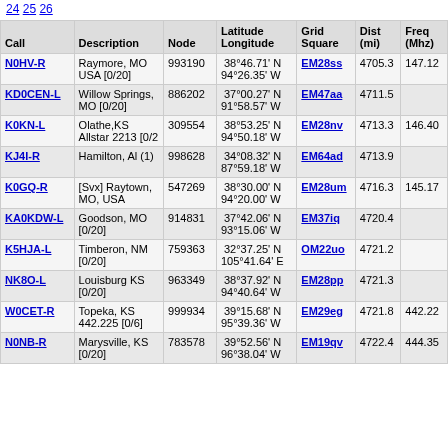24 25 26
| Call | Description | Node | Latitude Longitude | Grid Square | Dist (mi) | Freq (Mhz) |
| --- | --- | --- | --- | --- | --- | --- |
| N0HV-R | Raymore, MO USA [0/20] | 993190 | 38°46.71' N 94°26.35' W | EM28ss | 4705.3 | 147.12 |
| KD0CEN-L | Willow Springs, MO [0/20] | 886202 | 37°00.27' N 91°58.57' W | EM47aa | 4711.5 |  |
| K0KN-L | Olathe,KS Allstar 2213 [0/2 | 309554 | 38°53.25' N 94°50.18' W | EM28nv | 4713.3 | 146.40 |
| KJ4I-R | Hamilton, Al (1) | 998628 | 34°08.32' N 87°59.18' W | EM64ad | 4713.9 |  |
| K0GQ-R | [Svx] Raytown, MO, USA | 547269 | 38°30.00' N 94°20.00' W | EM28um | 4716.3 | 145.17 |
| KA0KDW-L | Goodson, MO [0/20] | 914831 | 37°42.06' N 93°15.06' W | EM37iq | 4720.4 |  |
| K5HJA-L | Timberon, NM [0/20] | 759363 | 32°37.25' N 105°41.64' E | OM22uo | 4721.2 |  |
| NK8O-L | Louisburg KS [0/20] | 963349 | 38°37.92' N 94°40.64' W | EM28pp | 4721.3 |  |
| W0CET-R | Topeka, KS 442.225 [0/6] | 999934 | 39°15.68' N 95°39.36' W | EM29eg | 4721.8 | 442.22 |
| N0NB-R | Marysville, KS [0/20] | 783578 | 39°52.56' N 96°38.04' W | EM19qv | 4722.4 | 444.35 |